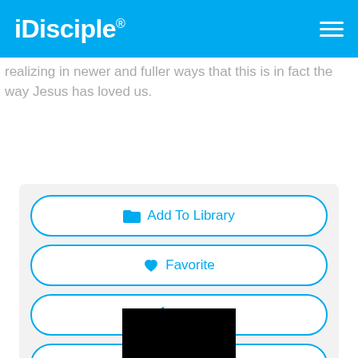iDisciple®
realizing in newer and fuller ways that this is in fact the way Jesus has loved us.
[Figure (screenshot): Action buttons panel with Add To Library, Favorite, Share, and Like 2 buttons]
[Figure (photo): Black video thumbnail at bottom of page]